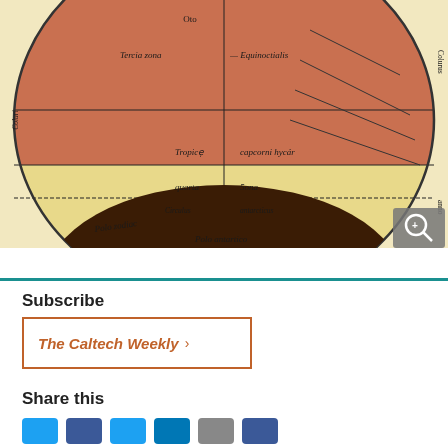[Figure (illustration): Medieval cosmological diagram showing a sphere/globe divided into climate zones, with Latin/Gothic text labels including 'Tercia zona', 'Equinoctialis', 'Tropice', 'caprcorni hycar', 'quarta zona', 'Circulus antarcticus', 'Polo zodiac', 'Polo antartico'. The upper portion is red/pink colored representing the torrid zone, lower portion is yellow/cream. A magnifying glass icon appears in the bottom right corner.]
Subscribe
The Caltech Weekly >
Share this